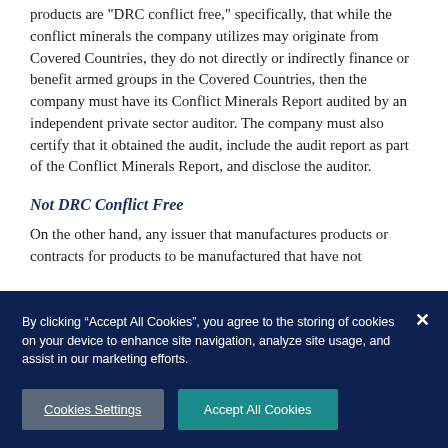products are "DRC conflict free," specifically, that while the conflict minerals the company utilizes may originate from Covered Countries, they do not directly or indirectly finance or benefit armed groups in the Covered Countries, then the company must have its Conflict Minerals Report audited by an independent private sector auditor. The company must also certify that it obtained the audit, include the audit report as part of the Conflict Minerals Report, and disclose the auditor.
Not DRC Conflict Free
On the other hand, any issuer that manufactures products or contracts for products to be manufactured that have not
By clicking “Accept All Cookies”, you agree to the storing of cookies on your device to enhance site navigation, analyze site usage, and assist in our marketing efforts.